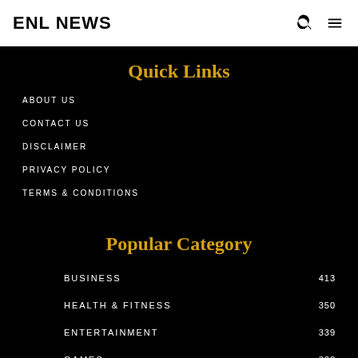ENL NEWS
Quick Links
ABOUT US
CONTACT US
DISCLAIMER
PRIVACY POLICY
TERMS & CONDITIONS
Popular Category
| Category | Count |
| --- | --- |
| BUSINESS | 413 |
| HEALTH & FITNESS | 350 |
| ENTERTAINMENT | 339 |
| GAMES | 338 |
| TECH | 272 |
| EDUCATION | 190 |
Editor Picks